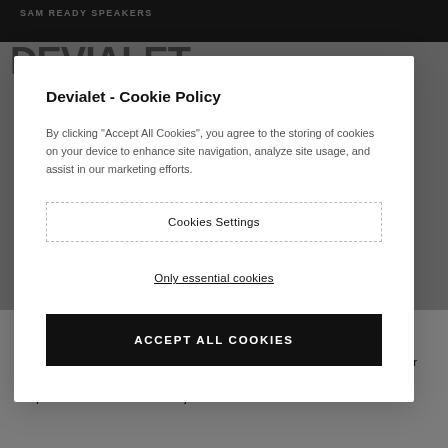SAM READY SPEAKERS
Devialet - Cookie Policy
By clicking "Accept All Cookies", you agree to the storing of cookies on your device to enhance site navigation, analyze site usage, and assist in our marketing efforts.
Cookies Settings
Only essential cookies
ACCEPT ALL COOKIES
A7
SAM® Speaker Active Matching works by recognizing the exact specs of your speakers. So Expert Pro can tailor the sound signal to fit their precise requirements. In real time. A major audio